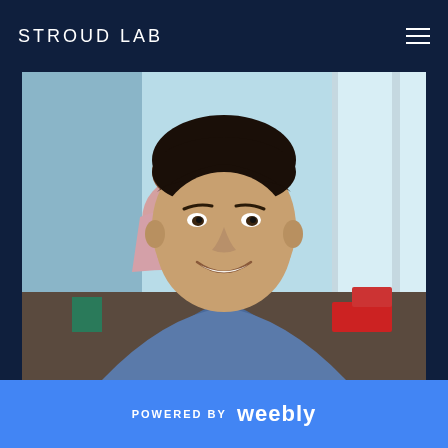STROUD LAB
[Figure (photo): Portrait photo of a young man with short dark hair, smiling, wearing a blue shirt. He is seated in what appears to be a cafeteria or dining area. In the background, another person with dark hair in a bun is seated, wearing a pink top. Large windows let in bright light on the right side.]
POWERED BY weebly